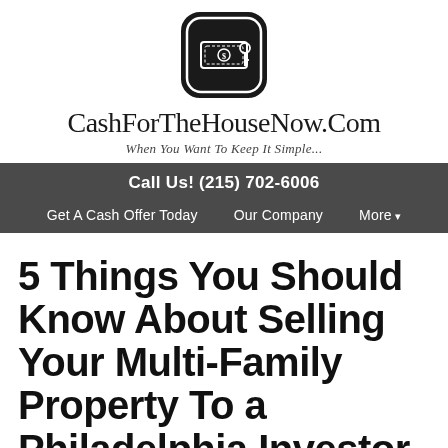[Figure (logo): Black shield/badge shaped logo with a dollar bill and key icon inside, white border outline]
CashForTheHouseNow.Com
When You Want To Keep It Simple...
Call Us! (215) 702-6006
Get A Cash Offer Today   Our Company   More ▾
5 Things You Should Know About Selling Your Multi-Family Property To a Philadelphia Investor